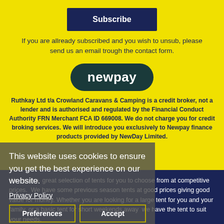Subscribe
If you are allready subscribed and you wish to unsub, please send us an email trough the contact form.
[Figure (logo): newpay logo — white text on dark teal/green rounded pill background]
Ruthkay Ltd t/a Crowland Caravans & Camping is a credit broker, not a lender and is authorised and regulated by the Financial Conduct Authority FRN Merchant FCA ID 669008. We do not charge you for credit broking services. We will introduce you exclusively to Newpay finance products provided by NewDay Limited.
This website uses cookies to ensure you get the best experience on our website.
Privacy Policy
Preferences
Accept
We have a  great selection of tents for you to choose from at competitive prices.  We have some previous season tents at good prices giving good value for money. Whether you are looking for a large tent for you and your family, or a basic tent for short weekends away  we have the tent to suit your needs.